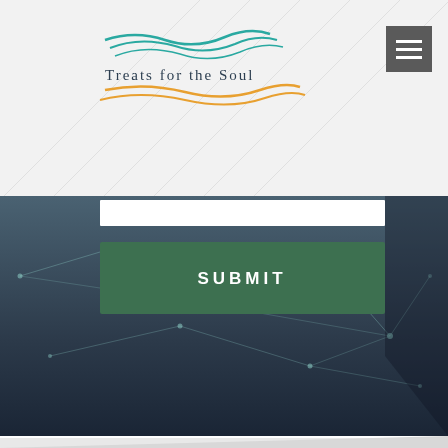[Figure (logo): Treats for the Soul logo with teal/orange wave lines above and below text]
[Figure (screenshot): Dark navy tech-themed banner with network/polygon line overlay, white input bar, and green SUBMIT button]
[Figure (illustration): Light gray diagonal triangle shape in lower portion of page]